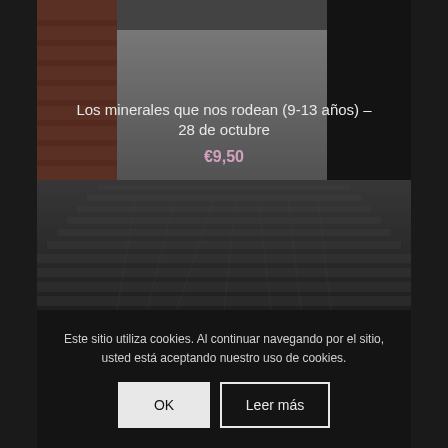[Figure (photo): Dark photograph of a cobblestone alley/street with brick buildings on both sides, perspective view going into the distance]
Los minerales que nos rodean (9-13 años) – 28 de octubre
€9,50
Este sitio utiliza cookies. Al continuar navegando por el sitio, usted está aceptando nuestro uso de cookies.